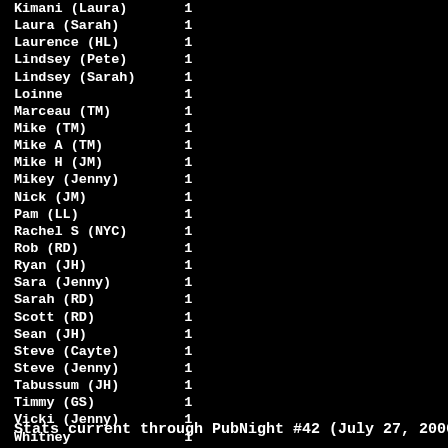| Name | Count |
| --- | --- |
| Kimani (Laura) | 1 |
| Laura (Sarah) | 1 |
| Laurence (HL) | 1 |
| Lindsey (Pete) | 1 |
| Lindsey (Sarah) | 1 |
| Loinne | 1 |
| Marceau (TM) | 1 |
| Mike (TM) | 1 |
| Mike A (TM) | 1 |
| Mike H (JM) | 1 |
| Mikey (Jenny) | 1 |
| Nick (JM) | 1 |
| Pam (LL) | 1 |
| Rachel S (NYC) | 1 |
| Rob (RD) | 1 |
| Ryan (JH) | 1 |
| Sara (Jenny) | 1 |
| Sarah (RD) | 1 |
| Scott (RD) | 1 |
| Sean (JH) | 1 |
| Steve (Cayte) | 1 |
| Steve (Jenny) | 1 |
| Tabussum (JH) | 1 |
| Timmy (GS) | 1 |
| Vicki (Jenny) | 1 |
| Whitney | 1 |
| 76        John Waters | 0 |
Stats current through PubNight #42 (July 27, 2006)